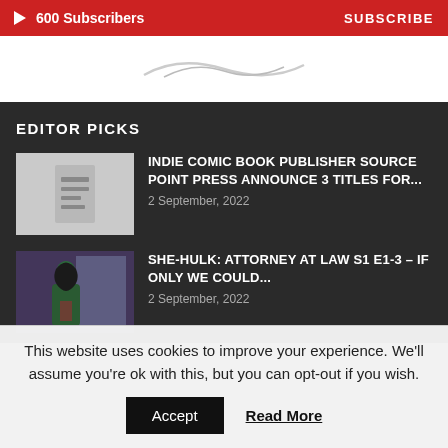600 Subscribers   SUBSCRIBE
[Figure (logo): Decorative curved logo or banner image in white section]
EDITOR PICKS
[Figure (illustration): Document/article icon thumbnail placeholder (gray background with document icon)]
INDIE COMIC BOOK PUBLISHER SOURCE POINT PRESS ANNOUNCE 3 TITLES FOR...
2 September, 2022
[Figure (photo): She-Hulk character photo thumbnail]
SHE-HULK: ATTORNEY AT LAW S1 E1-3 – IF ONLY WE COULD...
2 September, 2022
This website uses cookies to improve your experience. We'll assume you're ok with this, but you can opt-out if you wish.